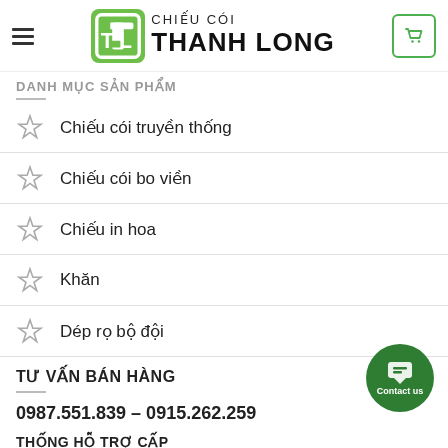CHIẾU CÓI THANH LONG
DANH MỤC SẢN PHẨM
Chiếu cói truyền thống
Chiếu cói bo viền
Chiếu in hoa
Khăn
Dép rọ bộ đội
TƯ VẤN BÁN HÀNG
0987.551.839 – 0915.262.259
THÔNG HỖ TRỢ CẤP